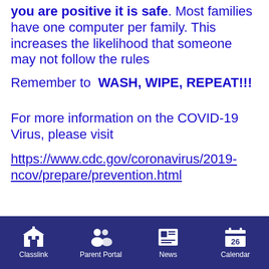Do not use a computer keyboard unless you are positive it is safe. Most families have one computer per family. This increases the likelihood that someone may not follow the rules
Remember to WASH, WIPE, REPEAT!!!
For more information on the COVID-19 Virus, please visit
https://www.cdc.gov/coronavirus/2019-ncov/prepare/prevention.html
Classlink | Parent Portal | News | Calendar